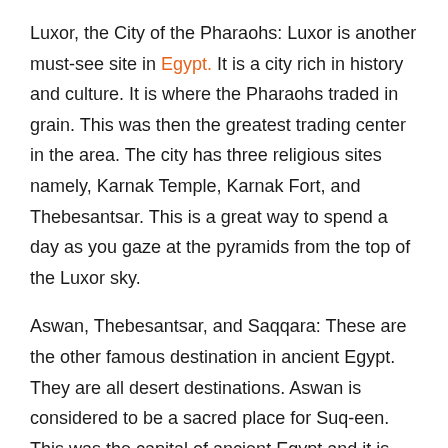Luxor, the City of the Pharaohs: Luxor is another must-see site in Egypt. It is a city rich in history and culture. It is where the Pharaohs traded in grain. This was then the greatest trading center in the area. The city has three religious sites namely, Karnak Temple, Karnak Fort, and Thebesantsar. This is a great way to spend a day as you gaze at the pyramids from the top of the Luxor sky.
Aswan, Thebesantsar, and Saqqara: These are the other famous destination in ancient Egypt. They are all desert destinations. Aswan is considered to be a sacred place for Suq-een. This was the capital of ancient Egypt and it is famous for its monuments, etc. Aswan is also known for the fertile plain in the Nile. Saqqara is a famous destination for desert safaris.
If you want to enjoy a holiday tour in Egypt with a cheap holiday ticket price, all you need to do is get an air ticket to Luxor and then take a trip to Aswan, Karnak temple ticket price and so on. There